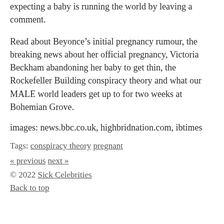expecting a baby is running the world by leaving a comment.
Read about Beyonce’s initial pregnancy rumour, the breaking news about her official pregnancy, Victoria Beckham abandoning her baby to get thin, the Rockefeller Building conspiracy theory and what our MALE world leaders get up to for two weeks at Bohemian Grove.
images: news.bbc.co.uk, highbridnation.com, ibtimes
Tags: conspiracy theory pregnant
« previous next »
© 2022 Sick Celebrities
Back to top